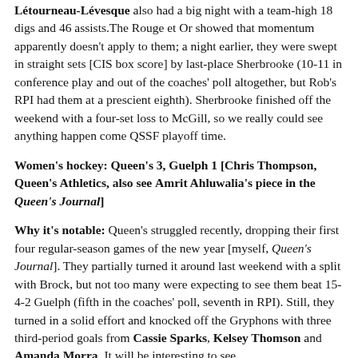Létourneau-Lévesque also had a big night with a team-high 18 digs and 46 assists. The Rouge et Or showed that momentum apparently doesn't apply to them; a night earlier, they were swept in straight sets [CIS box score] by last-place Sherbrooke (10-11 in conference play and out of the coaches' poll altogether, but Rob's RPI had them at a prescient eighth). Sherbrooke finished off the weekend with a four-set loss to McGill, so we really could see anything happen come QSSF playoff time.
Women's hockey: Queen's 3, Guelph 1 [Chris Thompson, Queen's Athletics, also see Amrit Ahluwalia's piece in the Queen's Journal]
Why it's notable: Queen's struggled recently, dropping their first four regular-season games of the new year [myself, Queen's Journal]. They partially turned it around last weekend with a split with Brock, but not too many were expecting to see them beat 15-4-2 Guelph (fifth in the coaches' poll, seventh in RPI). Still, they turned in a solid effort and knocked off the Gryphons with three third-period goals from Cassie Sparks, Kelsey Thomson and Amanda Morra. It will be interesting to see